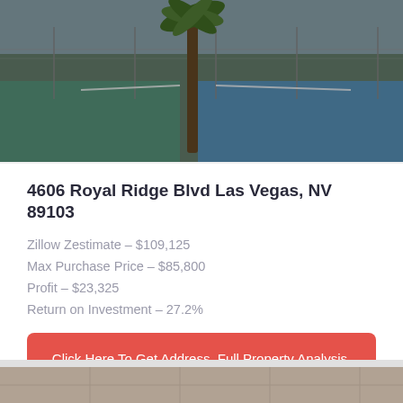[Figure (photo): Outdoor tennis courts with chain-link fencing and a palm tree in the foreground, daytime photo]
4606 Royal Ridge Blvd Las Vegas, NV 89103
Zillow Zestimate – $109,125
Max Purchase Price – $85,800
Profit – $23,325
Return on Investment – 27.2%
Click Here To Get Address, Full Property Analysis, Pictures & Seller Contact Info
[Figure (photo): Interior room photo showing tiled floor, partial view of a room]